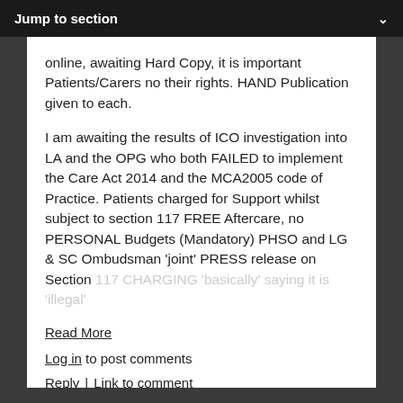Jump to section
online, awaiting Hard Copy, it is important Patients/Carers no their rights. HAND Publication given to each.
I am awaiting the results of ICO investigation into LA and the OPG who both FAILED to implement the Care Act 2014 and the MCA2005 code of Practice. Patients charged for Support whilst subject to section 117 FREE Aftercare, no PERSONAL Budgets (Mandatory) PHSO and LG & SC Ombudsman 'joint' PRESS release on Section 117 CHARGING 'basically' saying it is 'illegal'
Read More
Log in to post comments
Reply  |  Link to comment